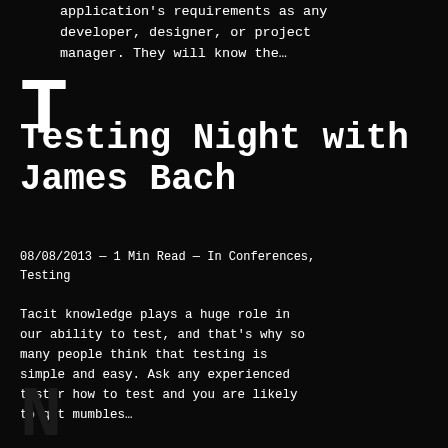application's requirements as any developer, designer, or project manager. They will know the…
Testing Night with James Bach
08/08/2013 — 1 Min Read — In Conferences, Testing
Tacit knowledge plays a huge role in our ability to test, and that's why so many people think that testing is simple and easy. Ask any experienced tester how to test and you are likely to get mumbles…